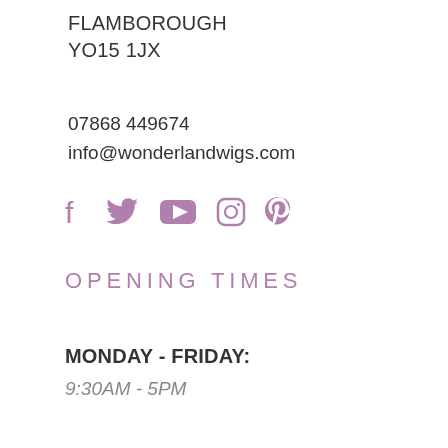FLAMBOROUGH
YO15 1JX
07868 449674
info@wonderlandwigs.com
[Figure (infographic): Social media icons: Facebook, Twitter, YouTube, Instagram, Pinterest in mauve/rose color]
OPENING TIMES
MONDAY - FRIDAY:
9:30AM - 5PM